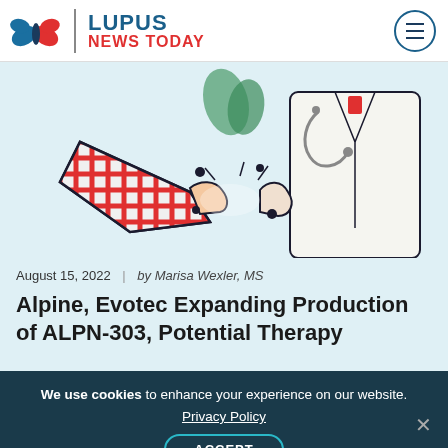Lupus News Today
[Figure (illustration): Illustration of a patient shaking hands with a doctor in a white coat, drawn in a sketchy style with red crosshatch pattern on patient's clothing, on a light blue background]
August 15, 2022 | by Marisa Wexler, MS
Alpine, Evotec Expanding Production of ALPN-303, Potential Therapy
We use cookies to enhance your experience on our website. Privacy Policy ACCEPT